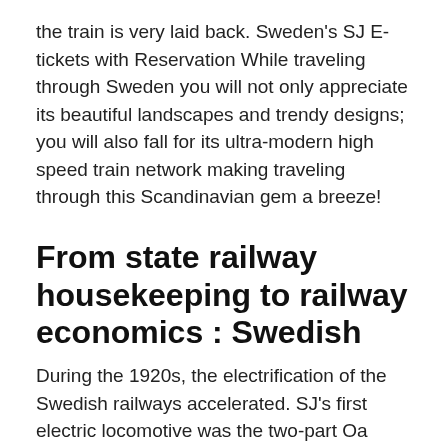the train is very laid back. Sweden's SJ E-tickets with Reservation While traveling through Sweden you will not only appreciate its beautiful landscapes and trendy designs; you will also fall for its ultra-modern high speed train network making traveling through this Scandinavian gem a breeze!
From state railway housekeeping to railway economics : Swedish
During the 1920s, the electrification of the Swedish railways accelerated. SJ's first electric locomotive was the two-part Oa locomotive built for the Malmbanan. Photo of Swedish Railway Museum.